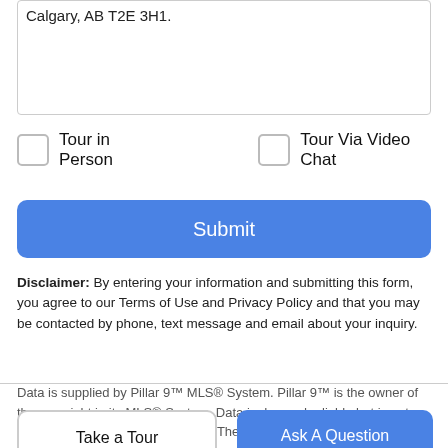Calgary, AB T2E 3H1.
Tour in Person
Tour Via Video Chat
Submit
Disclaimer: By entering your information and submitting this form, you agree to our Terms of Use and Privacy Policy and that you may be contacted by phone, text message and email about your inquiry.
Data is supplied by Pillar 9™ MLS® System. Pillar 9™ is the owner of the copyright in its MLS® System. Data is deemed reliable but is not guaranteed accurate by Pillar 9™. The
Take a Tour
Ask A Question